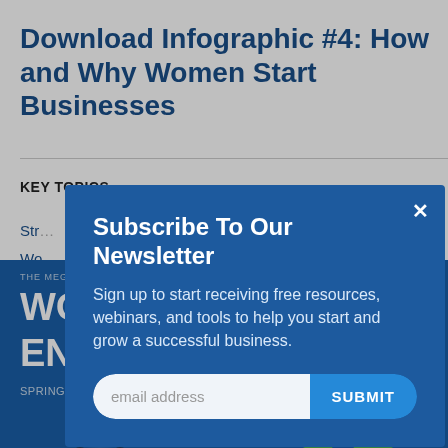Download Infographic #4: How and Why Women Start Businesses
KEY TOPICS
Str...
Wo...
[Figure (screenshot): Newsletter subscription modal overlay with email input field and SUBMIT button on a blue background. Title: Subscribe To Our Newsletter. Body: Sign up to start receiving free resources, webinars, and tools to help you start and grow a successful business.]
[Figure (infographic): SCORE Women's Entrepreneurship infographic banner. Text: THE MEGAPHONE OF MAIN STREET: WOMEN'S ENTREPRENEURSHIP. SPRING 2018. SCORE logo top right. Green building illustration bottom right.]